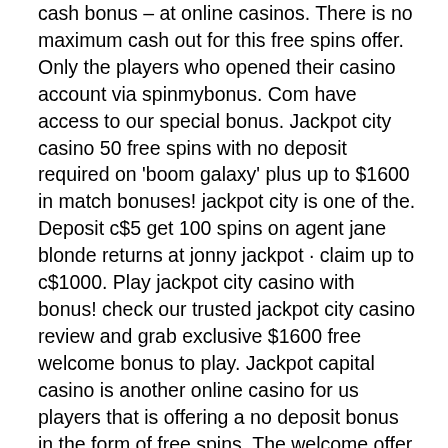cash bonus – at online casinos. There is no maximum cash out for this free spins offer. Only the players who opened their casino account via spinmybonus. Com have access to our special bonus. Jackpot city casino 50 free spins with no deposit required on 'boom galaxy' plus up to $1600 in match bonuses! jackpot city is one of the. Deposit c$5 get 100 spins on agent jane blonde returns at jonny jackpot · claim up to c$1000. Play jackpot city casino with bonus! check our trusted jackpot city casino review and grab exclusive $1600 free welcome bonus to play. Jackpot capital casino is another online casino for us players that is offering a no deposit bonus in the form of free spins. The welcome offer at jackie jackpot casino is a fabulous one. It is 25 free spins no deposit required. All new players also get a 100% first deposit bonus up to. Yes, jackpot city offers 80 free spins for a $1 deposit to all